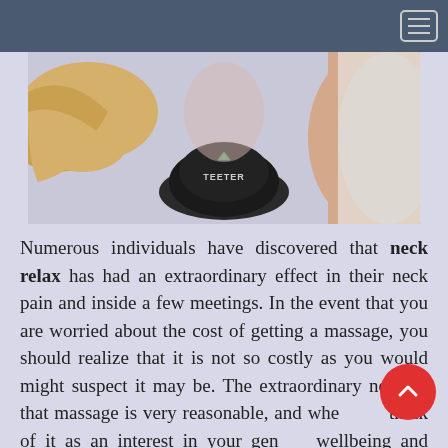Navigation bar with hamburger menu
[Figure (photo): Photo showing a neck massage device branded 'TEETER' being used on a person's neck, with a woman with blonde hair visible on the left side]
Numerous individuals have discovered that neck relax has had an extraordinary effect in their neck pain and inside a few meetings. In the event that you are worried about the cost of getting a massage, you should realize that it is not so costly as you would might suspect it may be. The extraordinary news is that massage is very reasonable, and when you think of it as an interest in your general wellbeing and solace, it merits the venture huge